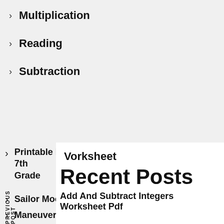> Multiplication
> Reading
> Subtraction
Worksheet
PREVIOUS POST
NEXT POST
Recent Posts
Add And Subtract Integers Worksheet Pdf
> Printable Latitude And Longitude Worksheets 7th Grade
> Sailor Moon Coloring Pages Pinterest
> Maneuvering The Middle Llc 2017 Worksheets